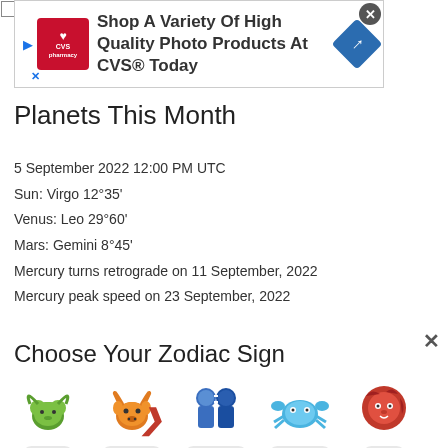[Figure (screenshot): CVS Pharmacy advertisement banner: 'Shop A Variety Of High Quality Photo Products At CVS® Today']
Planets This Month
5 September 2022 12:00 PM UTC
Sun: Virgo 12°35'
Venus: Leo 29°60'
Mars: Gemini 8°45'
Mercury turns retrograde on 11 September, 2022
Mercury peak speed on 23 September, 2022
Choose Your Zodiac Sign
[Figure (infographic): Zodiac sign icons row: Aries (March 21 - April 20), Taurus (April 21 - May 21), Gemini (May 22 - June 21), Cancer (June 22 - July 22), Leo (July 23 - August 2x)]